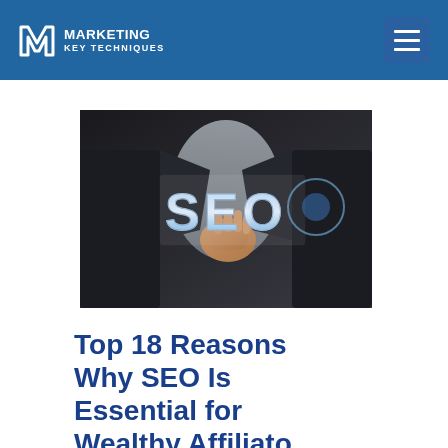MARKETING KEY TECHNIQUES
[Figure (photo): A person in a dark suit jacket pointing at a glass panel displaying the letters 'SEO' in large 3D chrome/blue text against a dark background.]
Top 18 Reasons Why SEO Is Essential for Wealthy Affiliate